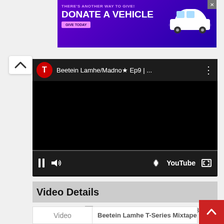[Figure (screenshot): Purple advertisement banner: THERE'S ANOTHER WAY TO GIVE! DONATE A VEHICLE — GIVE TODAY button, white car graphic, close X button]
[Figure (screenshot): YouTube embedded video player showing: T-Series logo, title 'Beetein Lamhe/Madno★ Ep9 | ...', black video area, progress bar, pause/volume/settings/YouTube/fullscreen controls]
Video Details
[Figure (screenshot): Broken image placeholder followed by text: Beetein Lamhe T-Series Mixtape S3]
| Video | Beetein Lamhe T-Series Mixtape S3 |
| --- | --- |